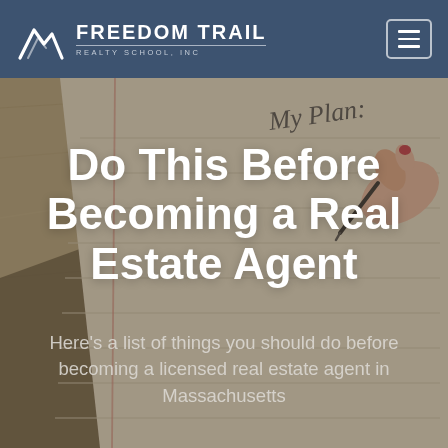FREEDOM TRAIL REALTY SCHOOL, INC
[Figure (photo): Background photo of a notebook open to a page with 'My Plan:' written in cursive at the top, with a hand holding a red pen about to write, on a wooden surface]
Do This Before Becoming a Real Estate Agent
Here's a list of things you should do before becoming a licensed real estate agent in Massachusetts